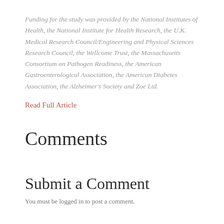Funding for the study was provided by the National Institutes of Health, the National Institute for Health Research, the U.K. Medical Research Council/Engineering and Physical Sciences Research Council, the Wellcome Trust, the Massachusetts Consortium on Pathogen Readiness, the American Gastroenterological Association, the American Diabetes Association, the Alzheimer's Society and Zoe Ltd.
Read Full Article
Comments
Submit a Comment
You must be logged in to post a comment.